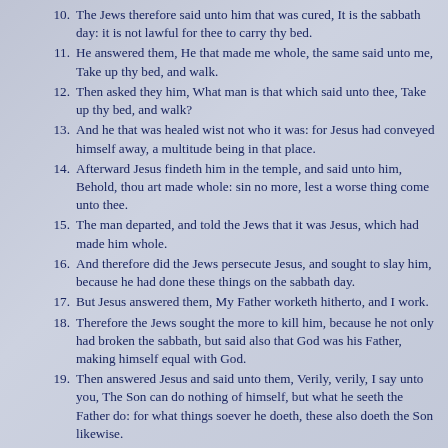10. The Jews therefore said unto him that was cured, It is the sabbath day: it is not lawful for thee to carry thy bed.
11. He answered them, He that made me whole, the same said unto me, Take up thy bed, and walk.
12. Then asked they him, What man is that which said unto thee, Take up thy bed, and walk?
13. And he that was healed wist not who it was: for Jesus had conveyed himself away, a multitude being in that place.
14. Afterward Jesus findeth him in the temple, and said unto him, Behold, thou art made whole: sin no more, lest a worse thing come unto thee.
15. The man departed, and told the Jews that it was Jesus, which had made him whole.
16. And therefore did the Jews persecute Jesus, and sought to slay him, because he had done these things on the sabbath day.
17. But Jesus answered them, My Father worketh hitherto, and I work.
18. Therefore the Jews sought the more to kill him, because he not only had broken the sabbath, but said also that God was his Father, making himself equal with God.
19. Then answered Jesus and said unto them, Verily, verily, I say unto you, The Son can do nothing of himself, but what he seeth the Father do: for what things soever he doeth, these also doeth the Son likewise.
20. For the Father loveth the Son, and sheweth him all things that himself doeth: and he will shew him greater works than these, that ye may marvel.
21. For as the Father raiseth up the dead, and quickeneth them; even so the Son quickeneth whom he will.